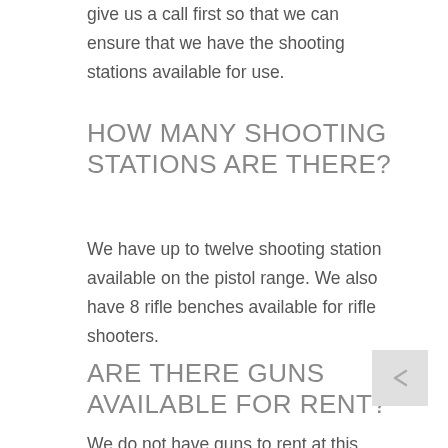give us a call first so that we can ensure that we have the shooting stations available for use.
HOW MANY SHOOTING STATIONS ARE THERE?
We have up to twelve shooting station available on the pistol range. We also have 8 rifle benches available for rifle shooters.
ARE THERE GUNS AVAILABLE FOR RENT?
We do not have guns to rent at this time.